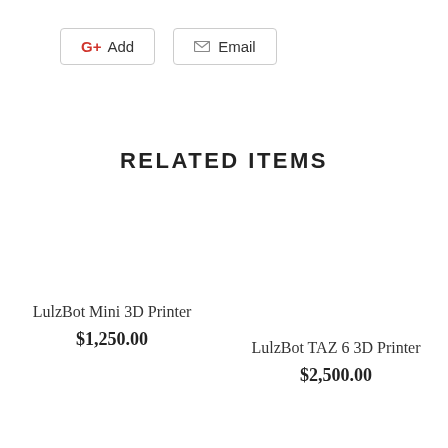[Figure (screenshot): Two UI buttons: 'G+ Add' with red G+ icon, and 'Email' with envelope icon, both with rounded rectangle borders]
RELATED ITEMS
LulzBot Mini 3D Printer
$1,250.00
LulzBot TAZ 6 3D Printer
$2,500.00